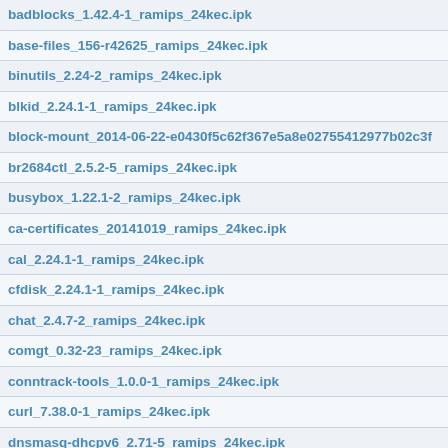badblocks_1.42.4-1_ramips_24kec.ipk
base-files_156-r42625_ramips_24kec.ipk
binutils_2.24-2_ramips_24kec.ipk
blkid_2.24.1-1_ramips_24kec.ipk
block-mount_2014-06-22-e0430f5c62f367e5a8e02755412977b02c3f
br2684ctl_2.5.2-5_ramips_24kec.ipk
busybox_1.22.1-2_ramips_24kec.ipk
ca-certificates_20141019_ramips_24kec.ipk
cal_2.24.1-1_ramips_24kec.ipk
cfdisk_2.24.1-1_ramips_24kec.ipk
chat_2.4.7-2_ramips_24kec.ipk
comgt_0.32-23_ramips_24kec.ipk
conntrack-tools_1.0.0-1_ramips_24kec.ipk
curl_7.38.0-1_ramips_24kec.ipk
dnsmasq-dhcpv6_2.71-5_ramips_24kec.ipk
dnsmasq-full_2.71-5_ramips_24kec.ipk
dnsmasq_2.71-5_ramips_24kec.ipk
dropbear_2014.63-2_ramips_24kec.ipk
dropbearconvert_2014.63-2_ramips_24kec.ipk
ds-lite_4-1_all.ipk